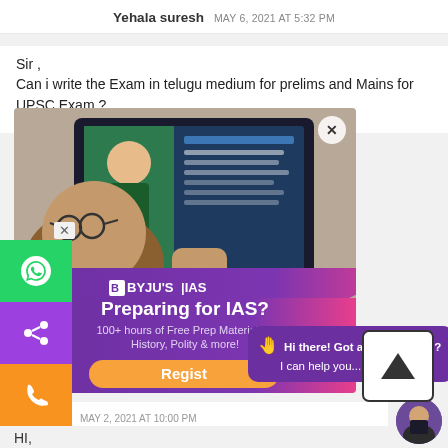Yehala suresh   MAY 6, 2021 AT 5:32 PM
Sir ,
Can i write the Exam in telugu medium for prelims and Mains for UPSC Exam ?
[Figure (screenshot): BYJU'S IAS advertisement showing a person using a tablet with an online class, overlaid with BYJU'S IAS branding and text: 'Preparing for IAS? 100+ hours of Free Prep Material on History, Polity & more!' with a Register button and chat bubble saying 'Hi there! Got any questions? I can help you...']
Sumaiya   MAY 2, 2021 AT 10:00 PM
HI,